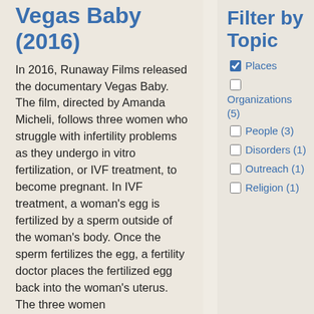Vegas Baby (2016)
In 2016, Runaway Films released the documentary Vegas Baby. The film, directed by Amanda Micheli, follows three women who struggle with infertility problems as they undergo in vitro fertilization, or IVF treatment, to become pregnant. In IVF treatment, a woman's egg is fertilized by a sperm outside of the woman's body. Once the sperm fertilizes the egg, a fertility doctor places the fertilized egg back into the woman's uterus. The three women
Filter by Topic
Places
Organizations (5)
People (3)
Disorders (1)
Outreach (1)
Religion (1)